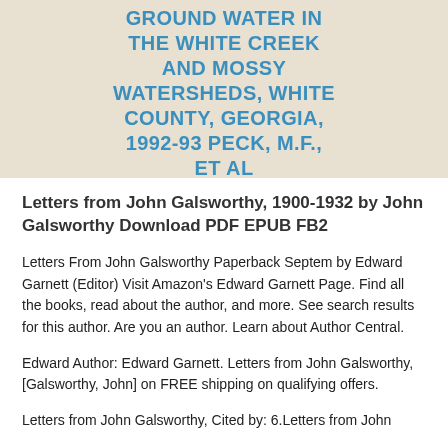GROUND WATER IN THE WHITE CREEK AND MOSSY WATERSHEDS, WHITE COUNTY, GEORGIA, 1992-93 PECK, M.F., ET AL
Letters from John Galsworthy, 1900-1932 by John Galsworthy Download PDF EPUB FB2
Letters From John Galsworthy Paperback Septem by Edward Garnett (Editor) Visit Amazon's Edward Garnett Page. Find all the books, read about the author, and more. See search results for this author. Are you an author. Learn about Author Central.
Edward Author: Edward Garnett. Letters from John Galsworthy, [Galsworthy, John] on FREE shipping on qualifying offers.
Letters from John Galsworthy, Cited by: 6.Letters from John